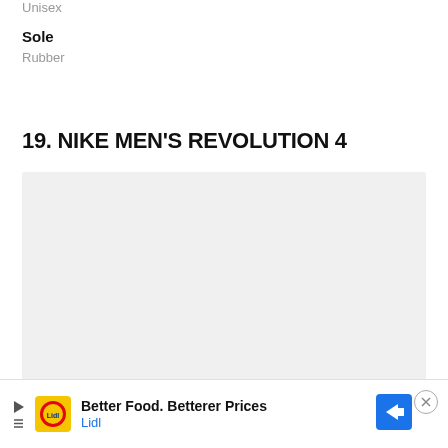Unisex
Sole
Rubber
19. NIKE MEN'S REVOLUTION 4
[Figure (photo): Product image placeholder for Nike Men's Revolution 4 shoe, shown as a light gray rectangle]
[Figure (other): Advertisement banner: Lidl logo, play and close icons, text 'Better Food. Betterer Prices' and 'Lidl', with a blue navigation arrow icon]